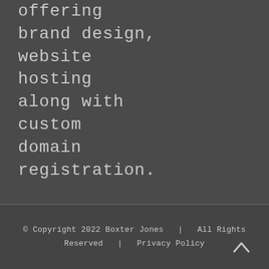offering brand design, website hosting along with custom domain registration.
© Copyright 2022 Boxter Jones  |  All Rights Reserved  |  Privacy Policy